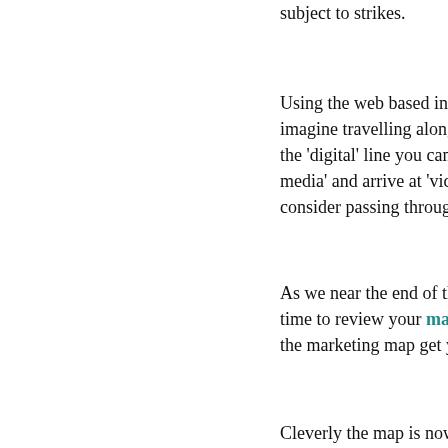subject to strikes.
Using the web based interac... imagine travelling along. It is the 'digital' line you can start media' and arrive at 'video co consider passing through or i
As we near the end of the ye time to review your marketing the marketing map get you o
Cleverly the map is now integ homepage to get you thinking could take with them.
B2B Contact Marketing tell m Marketing Map will be launch